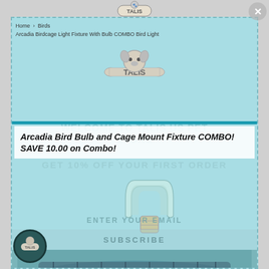[Figure (logo): Talis pet store logo at top center — cartoon dog face with 'TALIS' on a bone shape]
Home > Birds
Arcadia Birdcage Light Fixture With Bulb COMBO Bird Light
[Figure (logo): Talis pet store logo centered in light blue area]
WELCOME TO TALIS US PET STORE (watermark)
Arcadia Bird Bulb and Cage Mount Fixture COMBO!    SAVE 10.00 on Combo!
GET 10% OFF YOUR FIRST ORDER
[Figure (photo): Photo of a compact fluorescent bird light bulb (CFL style, white/green tint)]
ENTER YOUR EMAIL
SUBSCRIBE
[Figure (logo): Small Talis logo in dark teal circle at bottom left]
[Figure (photo): Bottom photo of a cage mount fixture/reflector light unit]